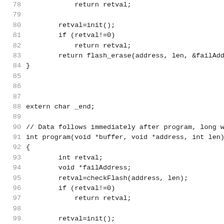Code listing lines 78-100 showing C source code with line numbers. Functions include return retval, init(), flash_erase(), extern char _end, program(void *buffer, void *address, int len), checkFlash(address, len), etc.